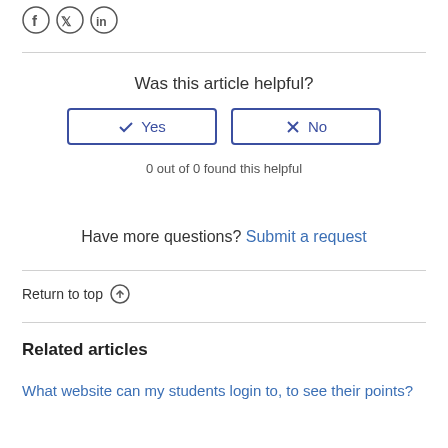[Figure (other): Social media share icons: Facebook, Twitter, LinkedIn]
Was this article helpful?
Yes   No (buttons)
0 out of 0 found this helpful
Have more questions? Submit a request
Return to top ↑
Related articles
What website can my students login to, to see their points?